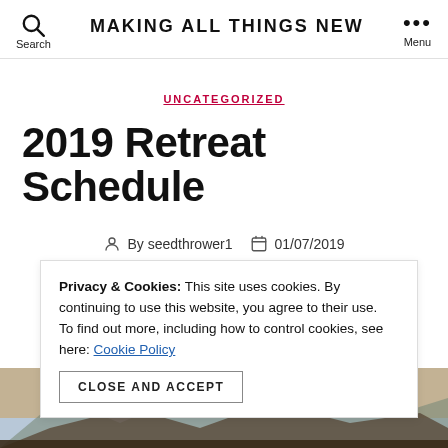MAKING ALL THINGS NEW
UNCATEGORIZED
2019 Retreat Schedule
By seedthrower1  01/07/2019
Privacy & Cookies: This site uses cookies. By continuing to use this website, you agree to their use. To find out more, including how to control cookies, see here: Cookie Policy
CLOSE AND ACCEPT